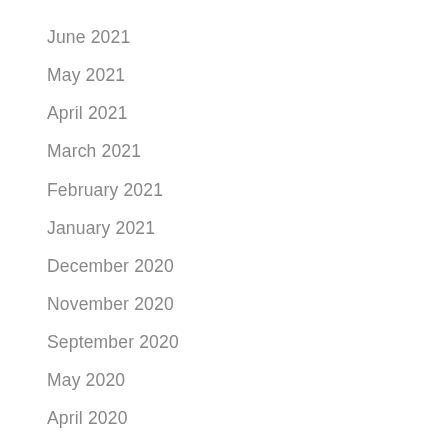June 2021
May 2021
April 2021
March 2021
February 2021
January 2021
December 2020
November 2020
September 2020
May 2020
April 2020
March 2020
February 2020